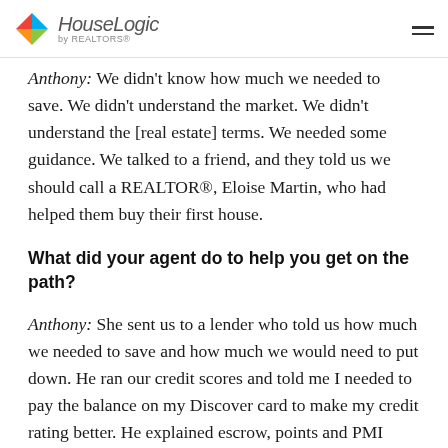HouseLogic by REALTORS®
Anthony: We didn't know how much we needed to save. We didn't understand the market. We didn't understand the [real estate] terms. We needed some guidance. We talked to a friend, and they told us we should call a REALTOR®, Eloise Martin, who had helped them buy their first house.
What did your agent do to help you get on the path?
Anthony: She sent us to a lender who told us how much we needed to save and how much we would need to put down. He ran our credit scores and told me I needed to pay the balance on my Discover card to make my credit rating better. He explained escrow, points and PMI [private mortgage